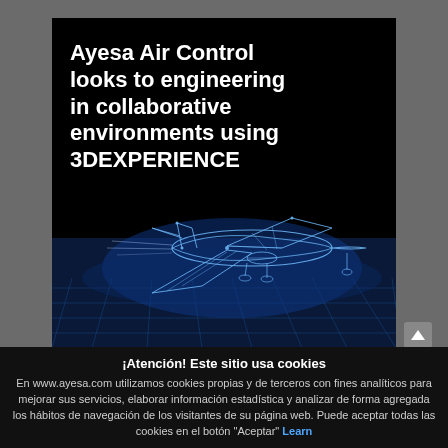[Figure (screenshot): Dark banner image for Ayesa Air Control featuring bold white text overlaid on a 3D wireframe aircraft illustration on a black/dark blue background. Text reads: 'Ayesa Air Control looks to engineering in collaborative environments using 3DEXPERIENCE']
Ayesa Air Control looks to engineering in collaborative environments using 3DEXPERIENCE
¡Atención! Este sitio usa cookies
En www.ayesa.com utilizamos cookies propias y de terceros con fines analíticos para mejorar sus servicios, elaborar información estadística y analizar de forma agregada los hábitos de navegación de los visitantes de su página web. Puede aceptar todas las cookies en el botón "Aceptar" Learn